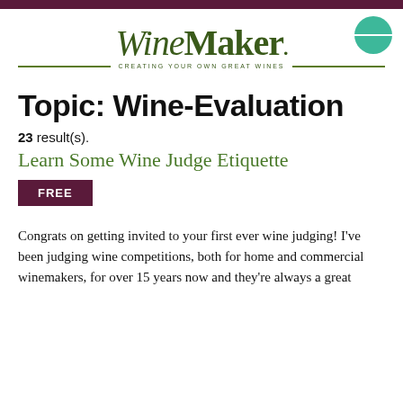WineMaker — CREATING YOUR OWN GREAT WINES
Topic: Wine-Evaluation
23 result(s).
Learn Some Wine Judge Etiquette
FREE
Congrats on getting invited to your first ever wine judging! I've been judging wine competitions, both for home and commercial winemakers, for over 15 years now and they're always a great